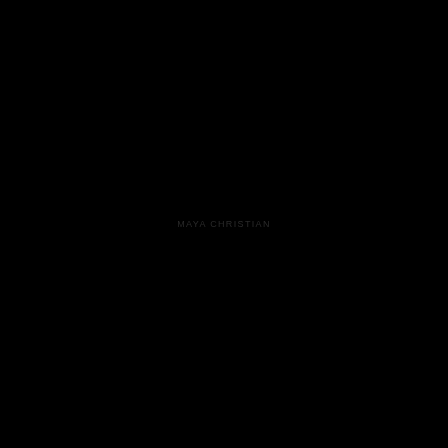[Figure (photo): Nearly entirely black page/image with very faint centered text reading 'MAYA CHRISTIAN' in small dark gray lettering against the black background.]
MAYA CHRISTIAN